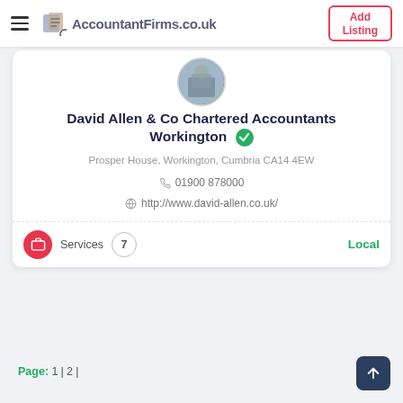AccountantFirms.co.uk — Add Listing
David Allen & Co Chartered Accountants Workington
Prosper House, Workington, Cumbria CA14 4EW
01900 878000
http://www.david-allen.co.uk/
Services 7 Local
Page: 1 | 2 |